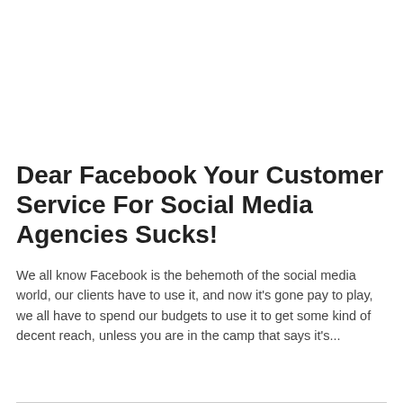Dear Facebook Your Customer Service For Social Media Agencies Sucks!
We all know Facebook is the behemoth of the social media world, our clients have to use it, and now it's gone pay to play, we all have to spend our budgets to use it to get some kind of decent reach, unless you are in the camp that says it's...
Read More